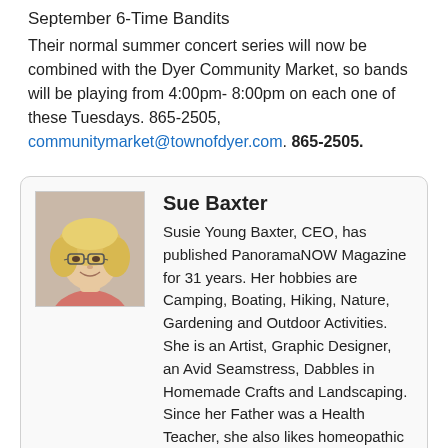September 6-Time Bandits
Their normal summer concert series will now be combined with the Dyer Community Market, so bands will be playing from 4:00pm- 8:00pm on each one of these Tuesdays. 865-2505, communitymarket@townofdyer.com. 865-2505.
[Figure (photo): Headshot photo of Sue Baxter, a woman with blonde hair and glasses, smiling]
Sue Baxter
Susie Young Baxter, CEO, has published PanoramaNOW Magazine for 31 years. Her hobbies are Camping, Boating, Hiking, Nature, Gardening and Outdoor Activities. She is an Artist, Graphic Designer, an Avid Seamstress, Dabbles in Homemade Crafts and Landscaping. Since her Father was a Health Teacher, she also likes homeopathic Health Solutions. Since blogging started over 10